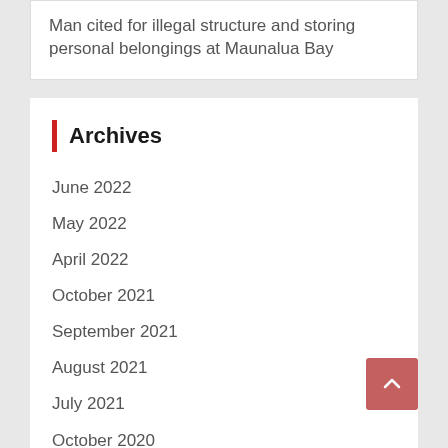Man cited for illegal structure and storing personal belongings at Maunalua Bay
Archives
June 2022
May 2022
April 2022
October 2021
September 2021
August 2021
July 2021
October 2020
September 2020
August 2020
July 2020
June 2020
May 2020